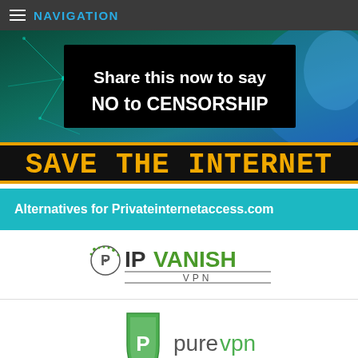NAVIGATION
[Figure (illustration): Banner image with teal/blue digital network background and black overlay text reading 'Share this now to say NO to CENSORSHIP']
[Figure (illustration): Dark banner with orange and yellow stylized text reading 'SAVE THE INTERNET']
Alternatives for Privateinternetaccess.com
[Figure (logo): IPVanish VPN logo]
[Figure (logo): PureVPN logo - green shield with P and green text 'purevpn']
[Figure (logo): Partial VPN logo at bottom, cut off]